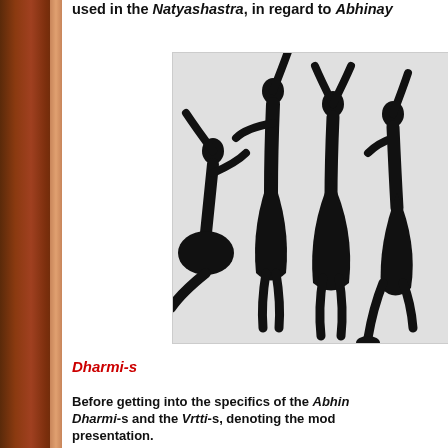used in the Natyashastra, in regard to Abhinay
[Figure (illustration): Silhouettes of classical Indian dancers in various poses, shown in black against a light grey background inside a rectangular frame.]
Dharmi-s
Before getting into the specifics of the Abhinaya, it is necessary to consider the Dharmi-s and the Vrtti-s, denoting the modes of presentation.
Bharata in Chapter 13 discusses two divisions of Natyadharmi and Loka-dharmi modes of presentation on the stage. Natyadharmi could, almost, be understood as stylized or classical mode of presentation. And, Lokadharmi is the realistic or naturalistic mode of staging in the play.
dharmī yā dvividhā proktā mayā pūrvaṃ dvija